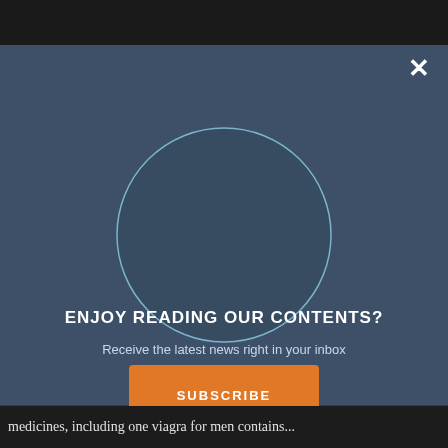[Figure (screenshot): Dark top image area showing partial photo of a person]
[Figure (illustration): Modal overlay with a large circle outline graphic in the center on a dark blue-grey background]
ENJOY READING OUR CONTENTS?
Receive the latest news right in your inbox
SUBSCRIBE
medicines, including one viagra for men contains...